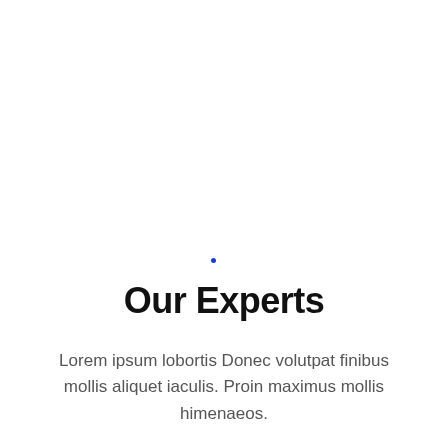[Figure (other): Small blue dot decorative element]
Our Experts
Lorem ipsum lobortis Donec volutpat finibus mollis aliquet iaculis. Proin maximus mollis himenaeos.